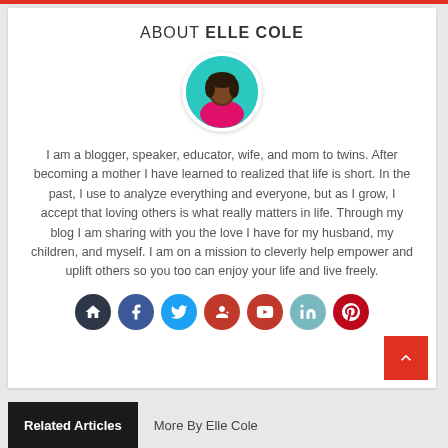ABOUT ELLE COLE
[Figure (photo): Circular avatar photo of Elle Cole with teal background]
I am a blogger, speaker, educator, wife, and mom to twins. After becoming a mother I have learned to realized that life is short. In the past, I use to analyze everything and everyone, but as I grow, I accept that loving others is what really matters in life. Through my blog I am sharing with you the love I have for my husband, my children, and myself. I am on a mission to cleverly help empower and uplift others so you too can enjoy your life and live freely.
[Figure (infographic): Row of social media icon buttons: home, facebook, twitter, google+, youtube, linkedin, pinterest]
Related Articles
More By Elle Cole